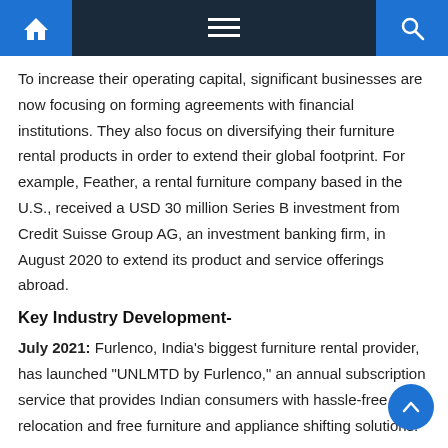Navigation bar with home, menu, and search icons
To increase their operating capital, significant businesses are now focusing on forming agreements with financial institutions. They also focus on diversifying their furniture rental products in order to extend their global footprint. For example, Feather, a rental furniture company based in the U.S., received a USD 30 million Series B investment from Credit Suisse Group AG, an investment banking firm, in August 2020 to extend its product and service offerings abroad.
Key Industry Development-
July 2021: Furlenco, India's biggest furniture rental provider, has launched "UNLMTD by Furlenco," an annual subscription service that provides Indian consumers with hassle-free relocation and free furniture and appliance shifting solutions.